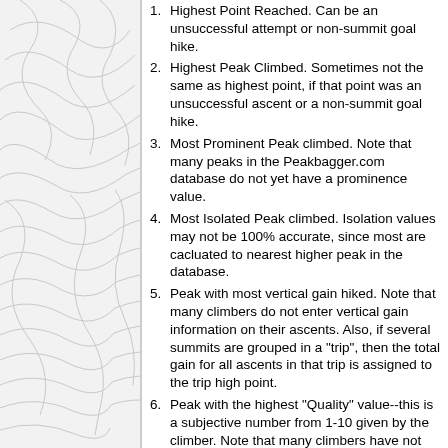[Figure (illustration): Left panel showing a topographic map background with contour lines in light gray on a white/light background, with a vertical divider line on the right side.]
Highest Point Reached. Can be an unsuccessful attempt or non-summit goal hike.
Highest Peak Climbed. Sometimes not the same as highest point, if that point was an unsuccessful ascent or a non-summit goal hike.
Most Prominent Peak climbed. Note that many peaks in the Peakbagger.com database do not yet have a prominence value.
Most Isolated Peak climbed. Isolation values may not be 100% accurate, since most are cacluated to nearest higher peak in the database.
Peak with most vertical gain hiked. Note that many climbers do not enter vertical gain information on their ascents. Also, if several summits are grouped in a "trip", then the total gain for all ascents in that trip is assigned to the trip high point.
Peak with the highest "Quality" value--this is a subjective number from 1-10 given by the climber. Note that many climbers have not given any of their ascents quality numbers.
Finally, "Top Ascents in All Categories", which shows, for each month, the unique peaks from all the 6 other categories. In many cases, one or two peaks will be the leader in the 6 categories, since often the highest peak climbed for a month is also the highest point reached, the most prominent peak, and the one with the most gain. But in some cases several peaks may appear for a month.